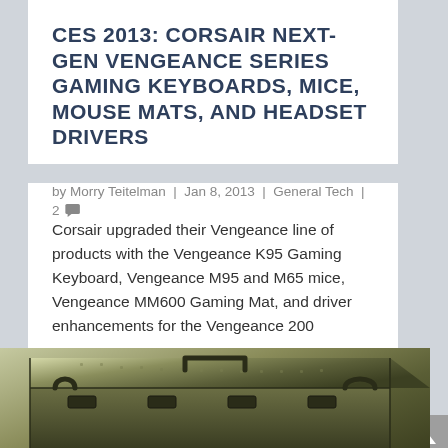CES 2013: CORSAIR NEXT-GEN VENGEANCE SERIES GAMING KEYBOARDS, MICE, MOUSE MATS, AND HEADSET DRIVERS
by Morry Teitelman | Jan 8, 2013 | General Tech | 2
Corsair upgraded their Vengeance line of products with the Vengeance K95 Gaming Keyboard, Vengeance M95 and M65 mice, Vengeance MM600 Gaming Mat, and driver enhancements for the Vengeance 200 Wireless Gaming Headset. Vengeance...
READ MORE
[Figure (photo): A military-style olive green hard case/ammunition box photographed at an angle, showing the top and front faces with latches and handles visible.]